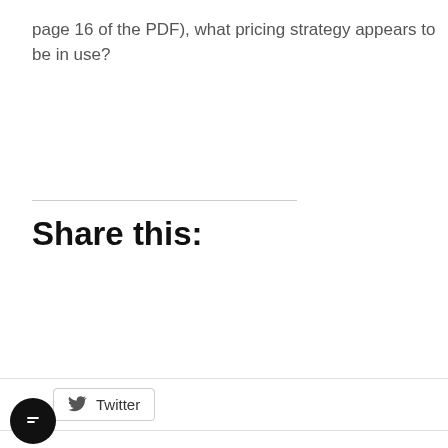page 16 of the PDF), what pricing strategy appears to be in use?
Share this:
Twitter
Facebook
Uncategorized
which focuses on budgetary
implemented the balance
pressure
scoreca